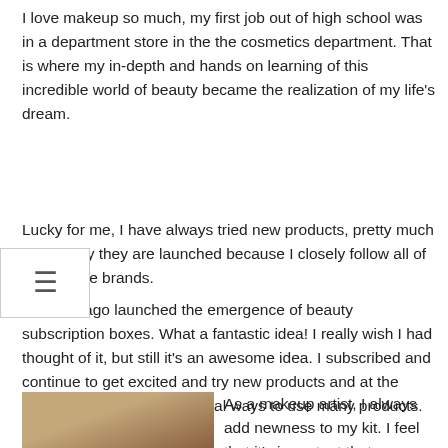I love makeup so much, my first job out of high school was in a department store in the the cosmetics department. That is where my in-depth and hands on learning of this incredible world of beauty became the realization of my life's dream.
[Figure (other): Hamburger menu icon button overlay]
Lucky for me, I have always tried new products, pretty much on the day they are launched because I closely follow all of my favorite brands.
Not long ago launched the emergence of beauty subscription boxes. What a fantastic idea! I really wish I had thought of it, but still it's an awesome idea. I subscribed and continue to get excited and try new products and at the same time discover additional ways to use many products.
[Figure (photo): Portrait photo of a person with dark hair and glasses, in warm toned setting]
As a makeup artist, I always add newness to my kit. I feel that it's important that my clients know